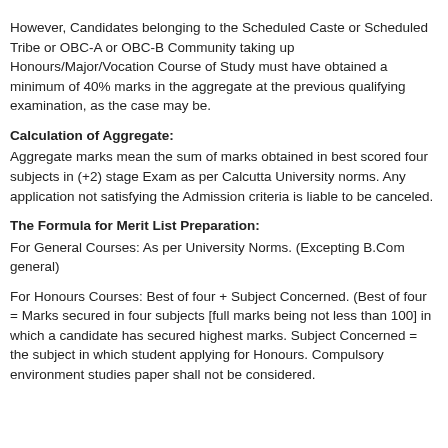However, Candidates belonging to the Scheduled Caste or Scheduled Tribe or OBC-A or OBC-B Community taking up Honours/Major/Vocation Course of Study must have obtained a minimum of 40% marks in the aggregate at the previous qualifying examination, as the case may be.
Calculation of Aggregate:
Aggregate marks mean the sum of marks obtained in best scored four subjects in (+2) stage Exam as per Calcutta University norms. Any application not satisfying the Admission criteria is liable to be canceled.
The Formula for Merit List Preparation:
For General Courses: As per University Norms. (Excepting B.Com general)
For Honours Courses: Best of four + Subject Concerned. (Best of four = Marks secured in four subjects [full marks being not less than 100] in which a candidate has secured highest marks. Subject Concerned = the subject in which student applying for Honours. Compulsory environment studies paper shall not be considered.